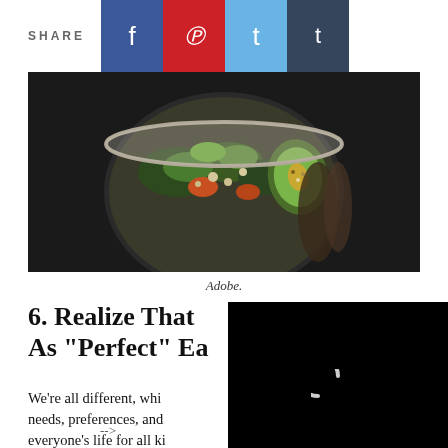SHARE
[Figure (photo): Person holding a bowl of colorful salad/grain bowl with avocado, greens, and other vegetables, dark background]
Adobe.
6. Realize That As “Perfect” Ea
[Figure (screenshot): Embedded video player, black background with loading spinner and controls showing 02:16 timestamp]
We’re all different, whi needs, preferences, and everyone’s life for all ki LDN, a dietitian in Ph a photo of her eating a sandwich sparked a controversy on social media when another dietitian called her out for eating “junk food.”
-->